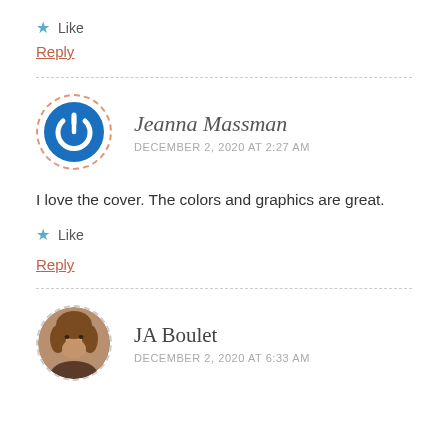★ Like
Reply
Jeanna Massman
DECEMBER 2, 2020 AT 2:27 AM
I love the cover. The colors and graphics are great.
★ Like
Reply
JA Boulet
DECEMBER 2, 2020 AT 6:33 AM